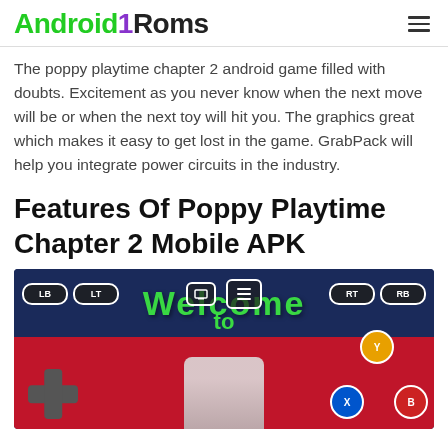Android1Roms
The poppy playtime chapter 2 android game filled with doubts. Excitement as you never know when the next move will be or when the next toy will hit you. The graphics great which makes it easy to get lost in the game. GrabPack will help you integrate power circuits in the industry.
Features Of Poppy Playtime Chapter 2 Mobile APK
[Figure (screenshot): Screenshot of Poppy Playtime Chapter 2 game showing controller overlay buttons (LB, LT, RT, RB, Y, X, B), a D-pad, welcome screen with green text, and a toy character on a red background.]